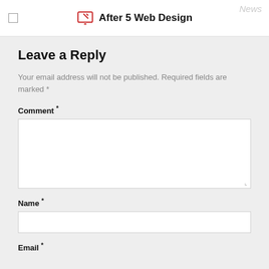After 5 Web Design
Leave a Reply
Your email address will not be published. Required fields are marked *
Comment *
Name *
Email *